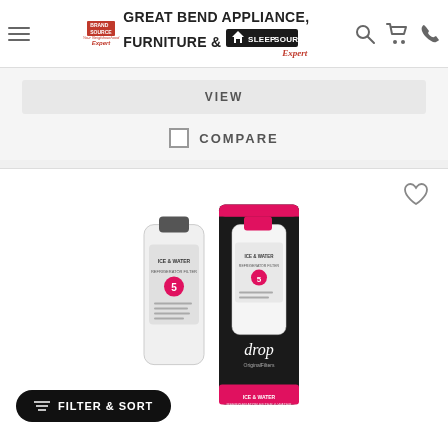Great Bend Appliance, Furniture & Sleep Source - BrandSource
VIEW
COMPARE
[Figure (photo): Refrigerator water filter product - Ice & Water Refrigerator Filter 5, shown standalone and in retail packaging (drop by OriginalFilters brand). The packaging is black and magenta/pink.]
FILTER & SORT